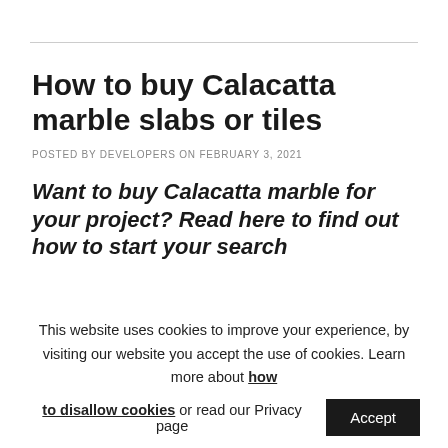How to buy Calacatta marble slabs or tiles
POSTED BY DEVELOPERS ON FEBRUARY 3, 2021
Want to buy Calacatta marble for your project? Read here to find out how to start your search
This website uses cookies to improve your experience, by visiting our website you accept the use of cookies. Learn more about how to disallow cookies or read our Privacy page